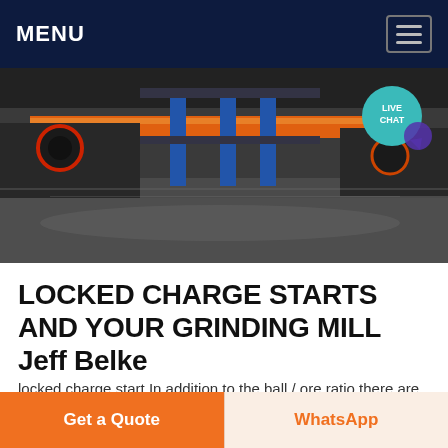MENU
[Figure (photo): Industrial grinding mill machinery interior, showing metal frames, orange and blue structural beams, and reflective floor. A 'LIVE CHAT' teal badge is visible in the top right corner of the image.]
LOCKED CHARGE STARTS AND YOUR GRINDING MILL Jeff Belke
locked charge start In addition to the ball / ore ratio there are other factors that combine to cause these events Typical causes in overflow ball mills: Insufficient ball
Get a Quote
WhatsApp